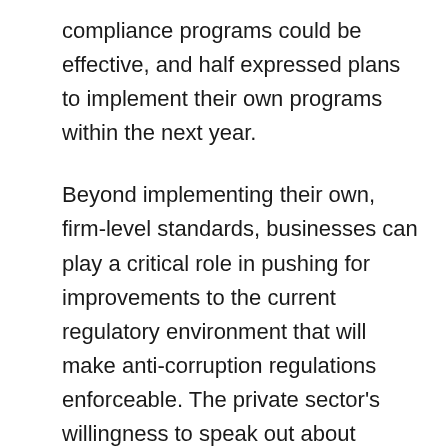compliance programs could be effective, and half expressed plans to implement their own programs within the next year.
Beyond implementing their own, firm-level standards, businesses can play a critical role in pushing for improvements to the current regulatory environment that will make anti-corruption regulations enforceable. The private sector's willingness to speak out about reforms and think through other options is reflective of their growing awareness of the benefits anti-corruption compliance gives them in regional and international markets. While these